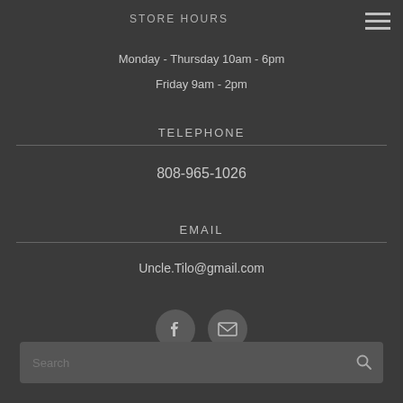STORE HOURS
Monday - Thursday 10am - 6pm
Friday 9am - 2pm
TELEPHONE
808-965-1026
EMAIL
Uncle.Tilo@gmail.com
[Figure (illustration): Social media icons: Facebook icon (f) and email envelope icon, both in dark circular buttons]
Search